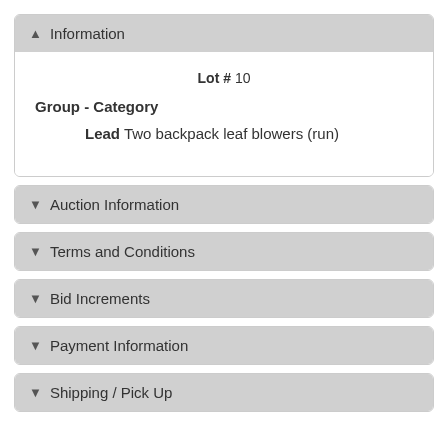Information
Lot # 10
Group - Category
Lead Two backpack leaf blowers (run)
Auction Information
Terms and Conditions
Bid Increments
Payment Information
Shipping / Pick Up